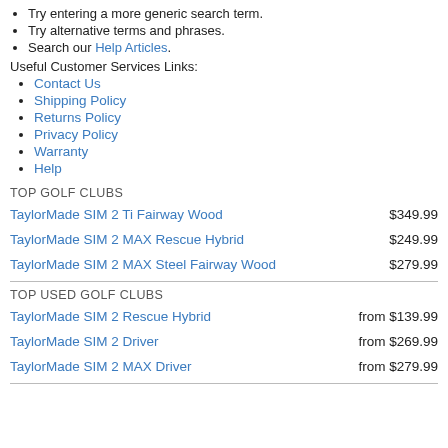Try entering a more generic search term.
Try alternative terms and phrases.
Search our Help Articles.
Useful Customer Services Links:
Contact Us
Shipping Policy
Returns Policy
Privacy Policy
Warranty
Help
TOP GOLF CLUBS
TaylorMade SIM 2 Ti Fairway Wood   $349.99
TaylorMade SIM 2 MAX Rescue Hybrid   $249.99
TaylorMade SIM 2 MAX Steel Fairway Wood   $279.99
TOP USED GOLF CLUBS
TaylorMade SIM 2 Rescue Hybrid   from $139.99
TaylorMade SIM 2 Driver   from $269.99
TaylorMade SIM 2 MAX Driver   from $279.99